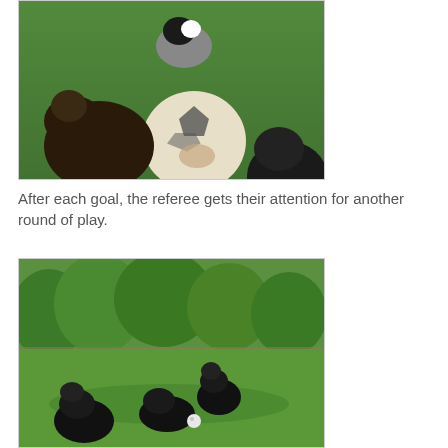[Figure (photo): Overhead view of dogs on green grass with a soccer ball being held by a person; multiple dark curly-haired dogs and one black-and-white dog are visible]
After each goal, the referee gets their attention for another round of play.
[Figure (photo): Wide yard scene with trees in background; several black dogs playing in green grass, one near a small white ball]